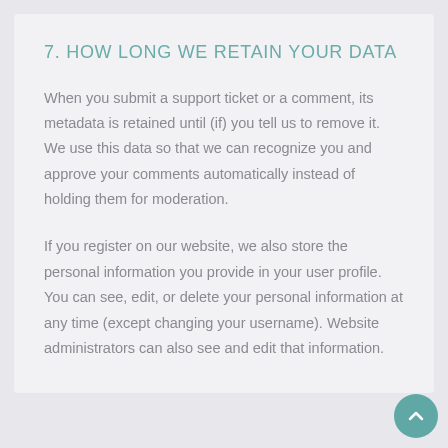7. HOW LONG WE RETAIN YOUR DATA
When you submit a support ticket or a comment, its metadata is retained until (if) you tell us to remove it. We use this data so that we can recognize you and approve your comments automatically instead of holding them for moderation.
If you register on our website, we also store the personal information you provide in your user profile. You can see, edit, or delete your personal information at any time (except changing your username). Website administrators can also see and edit that information.